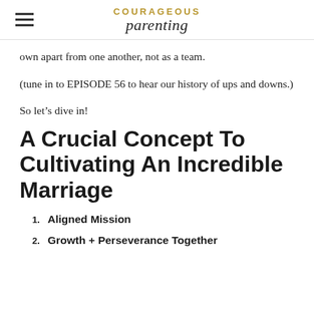COURAGEOUS parenting
own apart from one another, not as a team.
(tune in to EPISODE 56 to hear our history of ups and downs.)
So let’s dive in!
A Crucial Concept To Cultivating An Incredible Marriage
1. Aligned Mission
2. Growth + Perseverance Together